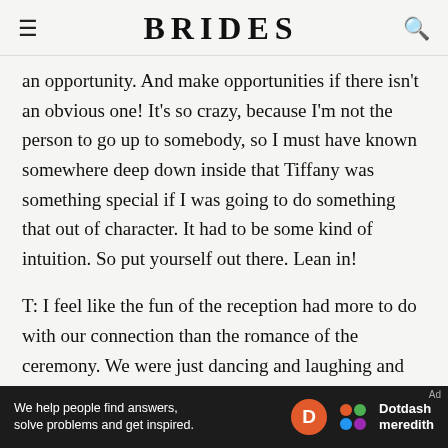BRIDES
an opportunity. And make opportunities if there isn't an obvious one! It's so crazy, because I'm not the person to go up to somebody, so I must have known somewhere deep down inside that Tiffany was something special if I was going to do something that out of character. It had to be some kind of intuition. So put yourself out there. Lean in!
T: I feel like the fun of the reception had more to do with our connection than the romance of the ceremony. We were just dancing and laughing and being natural. Where
[Figure (infographic): Advertisement bar: 'We help people find answers, solve problems and get inspired.' with Dotdash meredith logo]